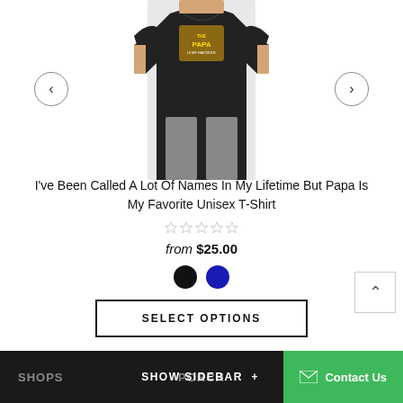[Figure (photo): A person wearing a dark/black graphic t-shirt with Papa-themed text design, shown from chest down, with left and right navigation arrows on either side.]
I've Been Called A Lot Of Names In My Lifetime But Papa Is My Favorite Unisex T-Shirt
☆☆☆☆☆
from $25.00
[Figure (other): Two color swatches: black and blue circles]
SELECT OPTIONS
SHOPS
SHOW SIDEBAR +
Contact Us
PORCH